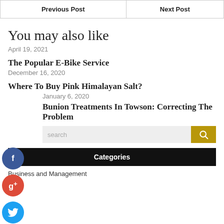| Previous Post | Next Post |
| --- | --- |
You may also like
April 19, 2021
The Popular E-Bike Service
December 16, 2020
Where To Buy Pink Himalayan Salt?
January 6, 2020
Bunion Treatments In Towson: Correcting The Problem
search
Categories
Business and Management